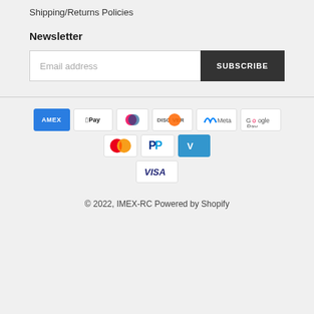Shipping/Returns Policies
Newsletter
Email address | SUBSCRIBE
[Figure (infographic): Payment method logos: American Express, Apple Pay, Diners Club, Discover, Meta Pay, Google Pay, Mastercard, PayPal, Venmo, Visa]
© 2022, IMEX-RC Powered by Shopify